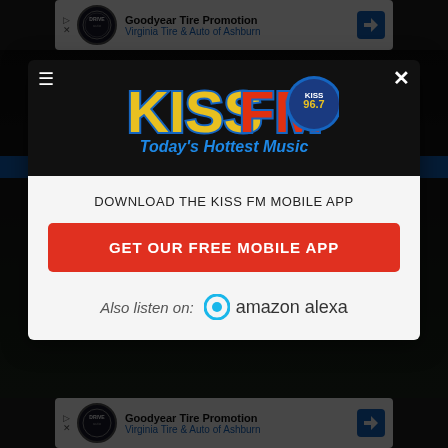[Figure (screenshot): Top advertisement banner: Goodyear Tire Promotion, Virginia Tire & Auto of Ashburn]
[Figure (screenshot): KISS FM 96.7 modal popup on darkened website background. Contains KISS FM logo with 'Today's Hottest Music' tagline, download prompt, red GET OUR FREE MOBILE APP button, and Amazon Alexa listen option.]
DOWNLOAD THE KISS FM MOBILE APP
GET OUR FREE MOBILE APP
Also listen on:  amazon alexa
[Figure (screenshot): Bottom advertisement banner: Goodyear Tire Promotion, Virginia Tire & Auto of Ashburn]